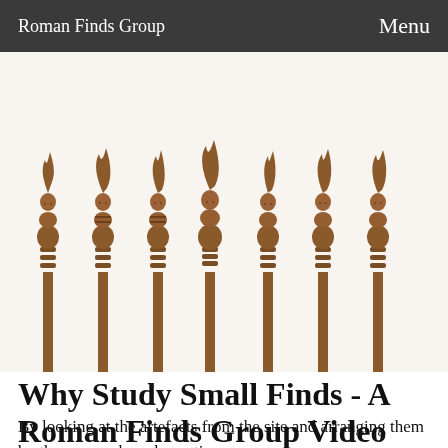Roman Finds Group    Menu
[Figure (photo): A row of seven carved bone or wood Roman hairpins, each with a small human bust figure at the top wearing a headdress, set against a white background. The pins have turned cylindrical shafts with ring decorations near the base.]
Why Study Small Finds - A Roman Finds Group Video
By looking at the artefacts from the site and arranging them by themes, such as domestic